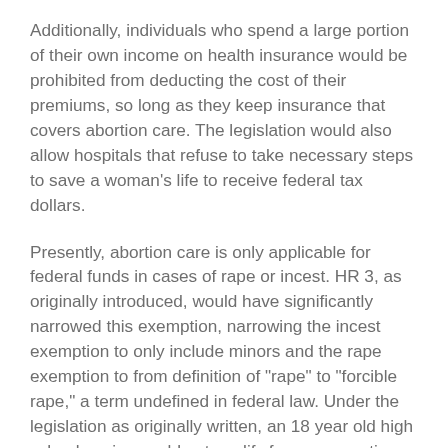Additionally, individuals who spend a large portion of their own income on health insurance would be prohibited from deducting the cost of their premiums, so long as they keep insurance that covers abortion care. The legislation would also allow hospitals that refuse to take necessary steps to save a woman's life to receive federal tax dollars.
Presently, abortion care is only applicable for federal funds in cases of rape or incest. HR 3, as originally introduced, would have significantly narrowed this exemption, narrowing the incest exemption to only include minors and the rape exemption to from definition of "rape" to "forcible rape," a term undefined in federal law. Under the legislation as originally written, an 18 year old high school senior would not qualify for an exemption, even if she was a victim of incest. Similarly, statutory rape, date rape, and rape that occurred as a result of coercion, but not force,